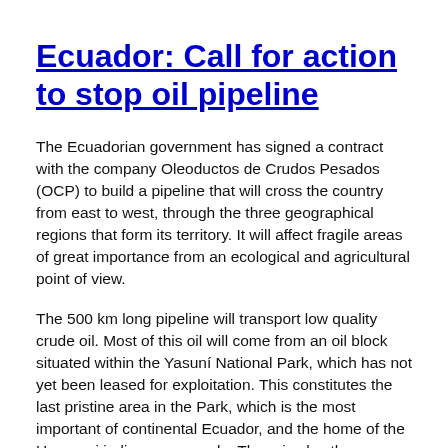Ecuador: Call for action to stop oil pipeline
The Ecuadorian government has signed a contract with the company Oleoductos de Crudos Pesados (OCP) to build a pipeline that will cross the country from east to west, through the three geographical regions that form its territory. It will affect fragile areas of great importance from an ecological and agricultural point of view.
The 500 km long pipeline will transport low quality crude oil. Most of this oil will come from an oil block situated within the Yasuní National Park, which has not yet been leased for exploitation. This constitutes the last pristine area in the Park, which is the most important of continental Ecuador, and the home of the Huaorani indigenous people. There is also the risk that the oil from the still existing the